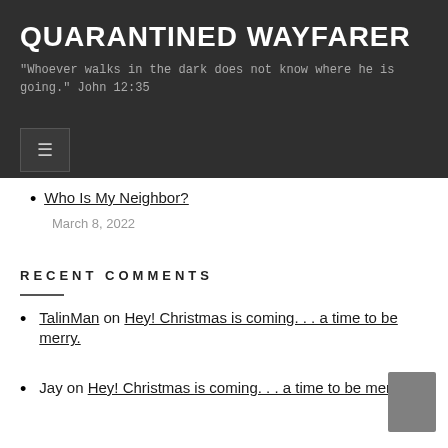QUARANTINED WAYFARER
"Whoever walks in the dark does not know where he is going." John 12:35
Who Is My Neighbor?
March 8, 2022
RECENT COMMENTS
TalinMan on Hey! Christmas is coming. . . a time to be merry.
Jay on Hey! Christmas is coming. . . a time to be merry.
TalinMan on A Tale of Two Dragons